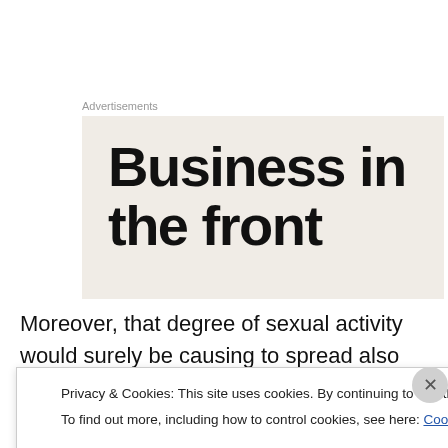Advertisements
[Figure (other): Advertisement banner with large bold text reading 'Business in the front' on a light beige background]
Moreover, that degree of sexual activity would surely be causing to spread also the commonly known sexually transmitted infections (STIs or STDs) — gonorrhea, syphilis, chlamydia, etc. Those are transmitted with
Privacy & Cookies: This site uses cookies. By continuing to use this website, you agree to their use.
To find out more, including how to control cookies, see here: Cookie Policy
Close and accept